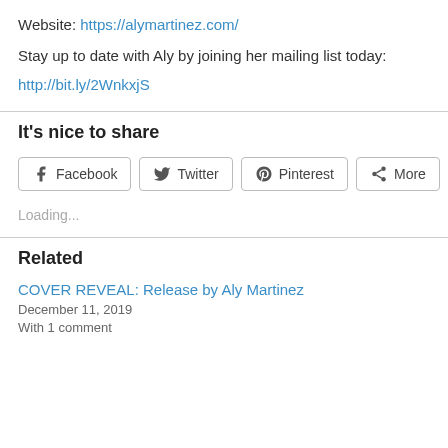Website: https://alymartinez.com/
Stay up to date with Aly by joining her mailing list today:
http://bit.ly/2WnkxjS
It's nice to share
[Figure (other): Social share buttons: Facebook, Twitter, Pinterest, More]
Loading...
Related
COVER REVEAL: Release by Aly Martinez
December 11, 2019
With 1 comment